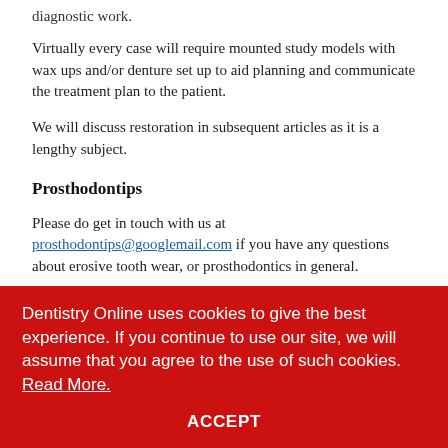diagnostic work.
Virtually every case will require mounted study models with wax ups and/or denture set up to aid planning and communicate the treatment plan to the patient.
We will discuss restoration in subsequent articles as it is a lengthy subject.
Prosthodontips
Please do get in touch with us at prosthodontips@googlemail.com if you have any questions about erosive tooth wear, or prosthodontics in general.
Dentistry Online uses cookies to give the best experience. If you continue to use our site, we will assume that you agree to the use of such cookies. Read More.
ACCEPT